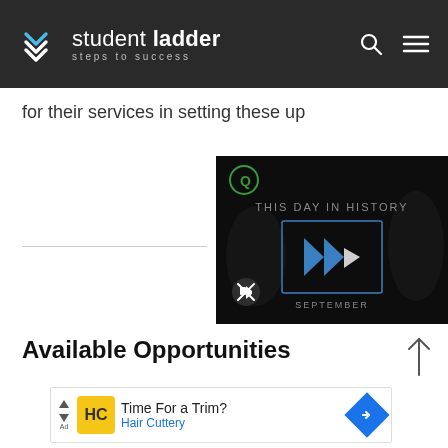[Figure (logo): Student Ladder logo with chevron icon, 'student ladder / steps to success' text, and search and menu icons on dark background header]
for their services in setting these up
[Figure (screenshot): Video player thumbnail with dark background showing 'THIS DAY IN HISTORY' text and blue play button icon with 'SEPTEMBER' label, plus a mute icon]
Available Opportunities
[Figure (screenshot): Advertisement banner: Time For a Trim? Hair Cuttery - with yellow HC logo and blue navigation arrow]